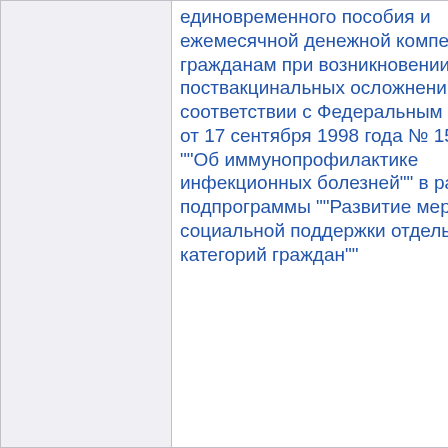|  | единовременного пособия и ежемесячной денежной компенсации гражданам при возникновении поствакцинальных осложнений в соответствии с Федеральным законом от 17 сентября 1998 года № 157-ФЗ ""Об иммунопрофилактике инфекционных болезней"" в рамках подпрограммы ""Развитие мер социальной поддержки отдельных категорий граждан"" |  |  |